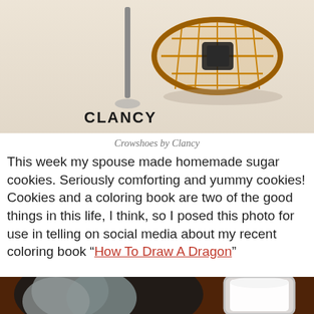[Figure (illustration): Illustration of snowshoes and a walking stick on snow, labeled 'CLANCY' in hand-drawn text at bottom left]
Crowshoes by Clancy
This week my spouse made homemade sugar cookies. Seriously comforting and yummy cookies! Cookies and a coloring book are two of the good things in this life, I think, so I posed this photo for use in telling on social media about my recent coloring book “How To Draw A Dragon”
[Figure (photo): Photo of homemade sugar cookies on a dark plate and a glass of milk on a wooden table]